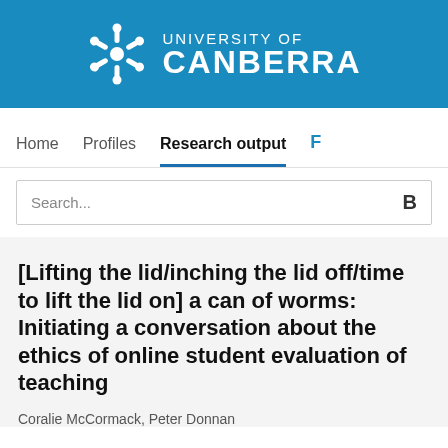[Figure (logo): University of Canberra logo with snowflake-style icon and text 'UNIVERSITY OF CANBERRA' on blue background]
Home   Profiles   Research output   F
Search...  B
[Lifting the lid/inching the lid off/time to lift the lid on] a can of worms: Initiating a conversation about the ethics of online student evaluation of teaching
Coralie McCormack, Peter Donnan